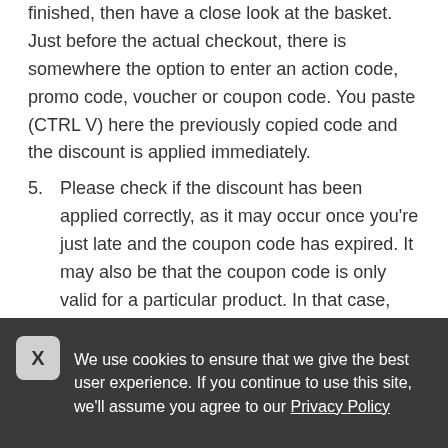finished, then have a close look at the basket. Just before the actual checkout, there is somewhere the option to enter an action code, promo code, voucher or coupon code. You paste (CTRL V) here the previously copied code and the discount is applied immediately.
5. Please check if the discount has been applied correctly, as it may occur once you're just late and the coupon code has expired. It may also be that the coupon code is only valid for a particular product. In that case, you can just get a new coupon code from our website. It is therefore important that you read the
We use cookies to ensure that we give the best user experience. If you continue to use this site, we'll assume you agree to our Privacy Policy